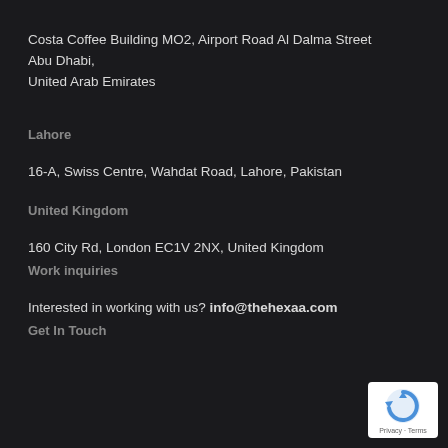Costa Coffee Building MO2, Airport Road Al Dalma Street Abu Dhabi,
United Arab Emirates
Lahore
16-A, Swiss Centre, Wahdat Road, Lahore, Pakistan
United Kingdom
160 City Rd, London EC1V 2NX, United Kingdom
Work inquiries
Interested in working with us? info@thehexaa.com
Get In Touch
[Figure (logo): reCAPTCHA badge with Google logo and Privacy - Terms text]